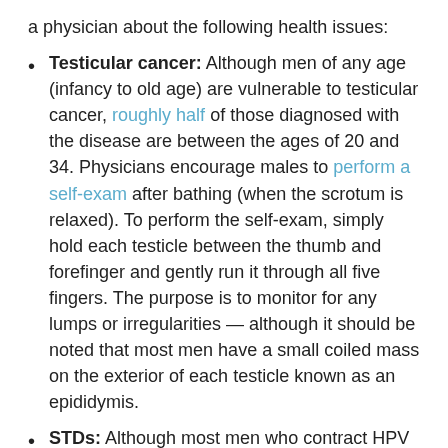a physician about the following health issues:
Testicular cancer: Although men of any age (infancy to old age) are vulnerable to testicular cancer, roughly half of those diagnosed with the disease are between the ages of 20 and 34. Physicians encourage males to perform a self-exam after bathing (when the scrotum is relaxed). To perform the self-exam, simply hold each testicle between the thumb and forefinger and gently run it through all five fingers. The purpose is to monitor for any lumps or irregularities — although it should be noted that most men have a small coiled mass on the exterior of each testicle known as an epididymis.
STDs: Although most men who contract HPV remain asymptomatic throughout their adult lives, they are still capable of transmitting the disease to others. For this reason, men are also encouraged to acquire the HPV immunization before the age of 26. Depending on their